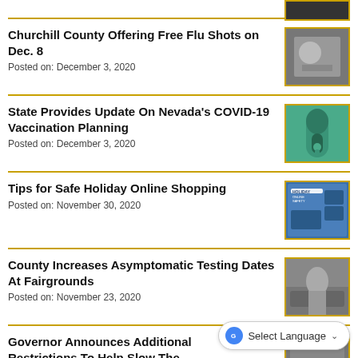[Figure (photo): Dark thumbnail image at top right corner]
Churchill County Offering Free Flu Shots on Dec. 8
Posted on: December 3, 2020
[Figure (photo): Black and white photo of a flu shot being administered]
State Provides Update On Nevada's COVID-19 Vaccination Planning
Posted on: December 3, 2020
[Figure (photo): Photo of a healthcare worker in green scrubs holding a vaccine]
Tips for Safe Holiday Online Shopping
Posted on: November 30, 2020
[Figure (photo): Holiday Online Safety infographic banner]
County Increases Asymptomatic Testing Dates At Fairgrounds
Posted on: November 23, 2020
[Figure (photo): Photo of person at drive-through testing site]
Governor Announces Additional Restrictions To Help Slow The
Select Language